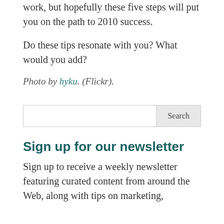work, but hopefully these five steps will put you on the path to 2010 success.
Do these tips resonate with you? What would you add?
Photo by hyku. (Flickr).
Search
Sign up for our newsletter
Sign up to receive a weekly newsletter featuring curated content from around the Web, along with tips on marketing,